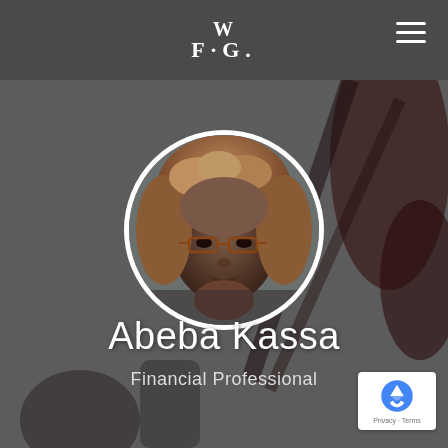WFG
[Figure (photo): Circular profile photo of Abeba Kassa, a woman with curly reddish-brown hair and glasses, set against a dark grey background with silhouettes]
Abeba Kassa
Financial Professional
[Figure (logo): reCAPTCHA badge with Privacy and Terms links]